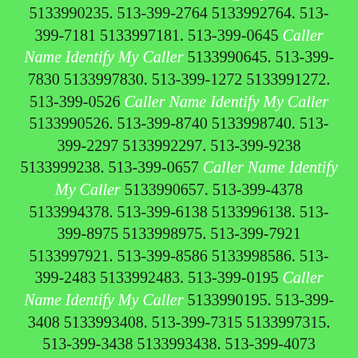5133992093. 513-399-1534 5133991534. 513-399-0235 Caller Name Identify My Caller 5133990235. 513-399-2764 5133992764. 513-399-7181 5133997181. 513-399-0645 Caller Name Identify My Caller 5133990645. 513-399-7830 5133997830. 513-399-1272 5133991272. 513-399-0526 Caller Name Identify My Caller 5133990526. 513-399-8740 5133998740. 513-399-2297 5133992297. 513-399-9238 5133999238. 513-399-0657 Caller Name Identify My Caller 5133990657. 513-399-4378 5133994378. 513-399-6138 5133996138. 513-399-8975 5133998975. 513-399-7921 5133997921. 513-399-8586 5133998586. 513-399-2483 5133992483. 513-399-0195 Caller Name Identify My Caller 5133990195. 513-399-3408 5133993408. 513-399-7315 5133997315. 513-399-3438 5133993438. 513-399-4073 5133994073. 513-399-4712 5133994712. 513-399-1083